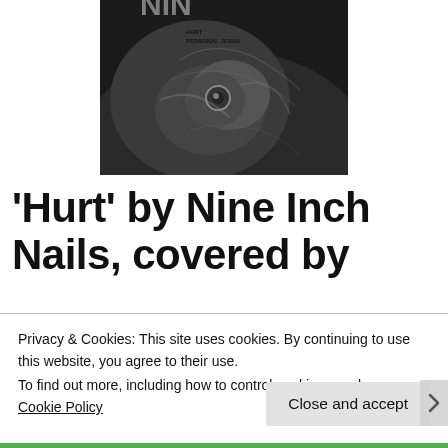[Figure (photo): Black and white album cover photo showing a close-up of a hand/fist with text reading 'HURT' and 'PERSONAL JESUS' in small uppercase letters]
‘Hurt’ by Nine Inch Nails, covered by
Privacy & Cookies: This site uses cookies. By continuing to use this website, you agree to their use.
To find out more, including how to control cookies, see here: Cookie Policy